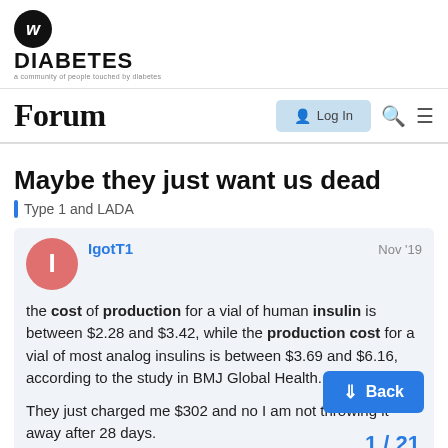DIABETES - a community of people touched by diabetes
Forum
Maybe they just want us dead
Type 1 and LADA
IgotT1  Nov '19
the cost of production for a vial of human insulin is between $2.28 and $3.42, while the production cost for a vial of most analog insulins is between $3.69 and $6.16, according to the study in BMJ Global Health.

They just charged me $302 and no I am not throwing it away after 28 days.
1 / 21